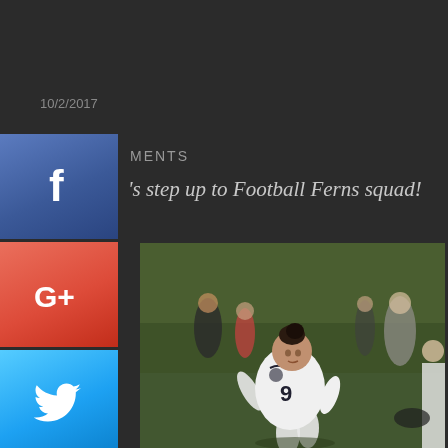10/2/2017
MENTS
s step up to Football Ferns squad!
[Figure (photo): Female soccer player wearing white New Zealand national team jersey with number 9, running on a grass field during a match. Other players and spectators visible in background.]
[Figure (infographic): Social media share buttons: Facebook (blue), Google+ (red), Twitter (light blue) stacked vertically on the left side of the page.]